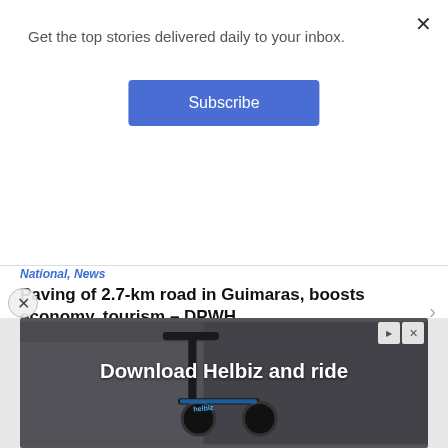Get the top stories delivered daily to your inbox.
Subscribe
National, News
Paving of 2.7-km road in Guimaras, boosts economy, tourism – DPWH
3 hours ago
National, News
Senate suspends regular work due to storm
3 hours ago
[Figure (photo): Advertisement banner showing an electric scooter with text 'Download Helbiz and ride']